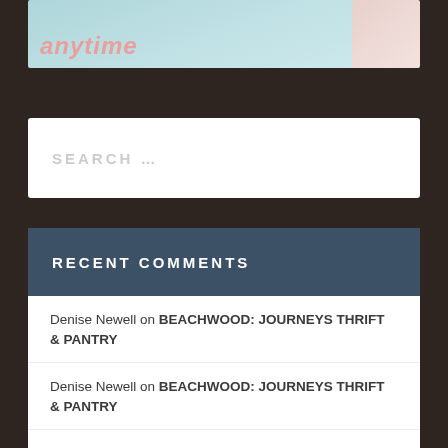[Figure (illustration): Partial view of a promotional banner image with light blue/teal background and pink cursive-style text reading 'anytime', with a pink 3D box element on the right side.]
SEARCH ...
RECENT COMMENTS
Denise Newell on BEACHWOOD: JOURNEYS THRIFT & PANTRY
Denise Newell on BEACHWOOD: JOURNEYS THRIFT & PANTRY
Denise Newell on BEACHWOOD: JOURNEYS THRIFT & PANTRY
Denise Newell on BEACHWOOD: JOURNEYS THRIFT & PANTRY